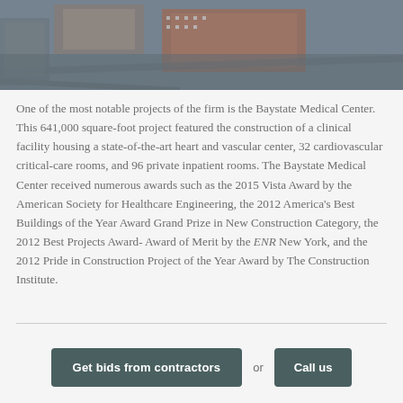[Figure (photo): Aerial view of Baystate Medical Center building complex, showing rooftops and surrounding roads and parking areas. The image is partially obscured with a dark/grey overlay at the bottom.]
One of the most notable projects of the firm is the Baystate Medical Center. This 641,000 square-foot project featured the construction of a clinical facility housing a state-of-the-art heart and vascular center, 32 cardiovascular critical-care rooms, and 96 private inpatient rooms. The Baystate Medical Center received numerous awards such as the 2015 Vista Award by the American Society for Healthcare Engineering, the 2012 America's Best Buildings of the Year Award Grand Prize in New Construction Category, the 2012 Best Projects Award- Award of Merit by the ENR New York, and the 2012 Pride in Construction Project of the Year Award by The Construction Institute.
Get bids from contractors or Call us